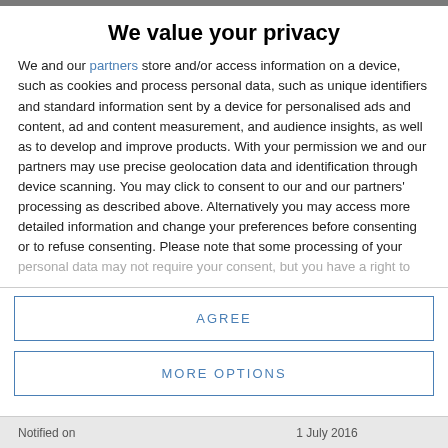We value your privacy
We and our partners store and/or access information on a device, such as cookies and process personal data, such as unique identifiers and standard information sent by a device for personalised ads and content, ad and content measurement, and audience insights, as well as to develop and improve products. With your permission we and our partners may use precise geolocation data and identification through device scanning. You may click to consent to our and our partners' processing as described above. Alternatively you may access more detailed information and change your preferences before consenting or to refuse consenting. Please note that some processing of your personal data may not require your consent, but you have a right to
AGREE
MORE OPTIONS
Notified on                               1 July 2016